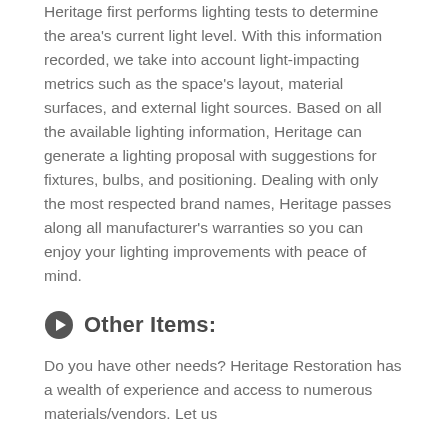Heritage first performs lighting tests to determine the area's current light level. With this information recorded, we take into account light-impacting metrics such as the space's layout, material surfaces, and external light sources. Based on all the available lighting information, Heritage can generate a lighting proposal with suggestions for fixtures, bulbs, and positioning. Dealing with only the most respected brand names, Heritage passes along all manufacturer's warranties so you can enjoy your lighting improvements with peace of mind.
Other Items:
Do you have other needs? Heritage Restoration has a wealth of experience and access to numerous materials/vendors. Let us know about your needs.